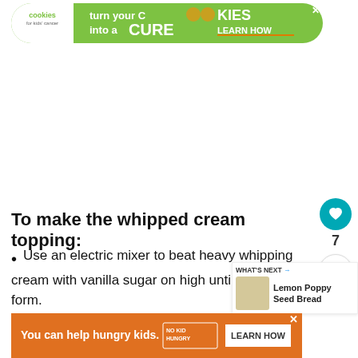[Figure (screenshot): Green advertisement banner: 'cookies for kids cancer – turn your COOKIES into a CURE LEARN HOW' with a close button]
To make the whipped cream topping:
Use an electric mixer to beat heavy whipping cream with vanilla sugar on high until stiff peaks form.
[Figure (screenshot): Orange advertisement banner: 'You can help hungry kids. NO KID HUNGRY. LEARN HOW' with a close button]
[Figure (screenshot): Sidebar: heart icon button with count 7 and share button; 'WHAT'S NEXT' panel showing Lemon Poppy Seed Bread]